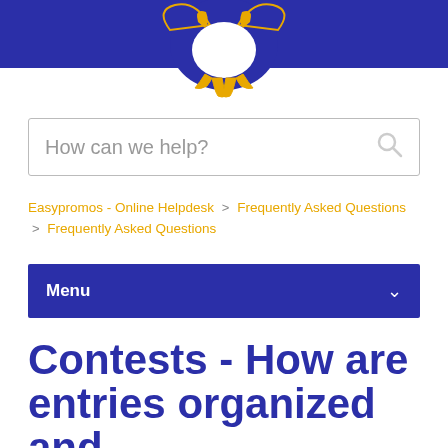[Figure (illustration): Easypromos logo/mascot: stylized owl or character with orange and white design on dark blue background header bar]
How can we help?
Easypromos - Online Helpdesk > Frequently Asked Questions > Frequently Asked Questions
Menu
Contests - How are entries organized and